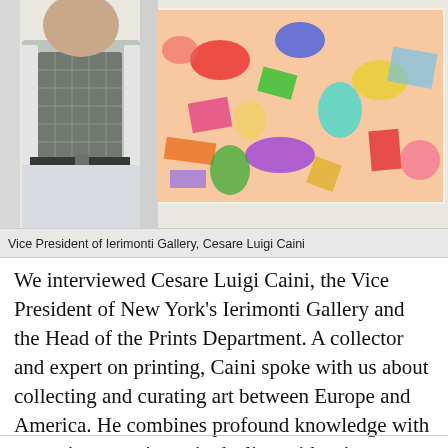[Figure (photo): A man standing in front of a colorful abstract painting at an art gallery. He is wearing a plaid vest over a white shirt with light-colored trousers.]
Vice President of Ierimonti Gallery, Cesare Luigi Caini
We interviewed Cesare Luigi Caini, the Vice President of New York's Ierimonti Gallery and the Head of the Prints Department. A collector and expert on printing, Caini spoke with us about collecting and curating art between Europe and America. He combines profound knowledge with extensive experience in dealing with print collectors on an international level. His secret? “Experience, a good eye, and a deep knowledge of history.”